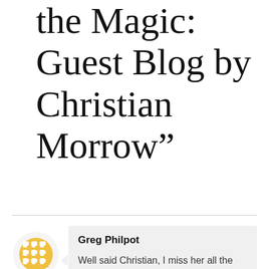the Magic: Guest Blog by Christian Morrow"
[Figure (illustration): Yellow waffle/grid pattern circular avatar icon for user Greg Philpot]
Greg Philpot
Well said Christian, I miss her all the time, and as said the slightest thing can trigger a memory. Now I just smile and say